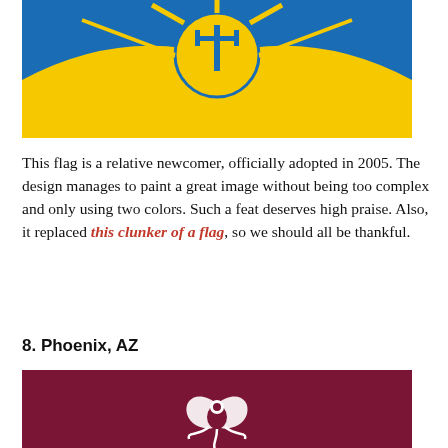[Figure (illustration): Flag of Tucson, AZ - blue and yellow flag with a sun bearing ray-like projections and a central circle containing a blue saguaro cactus silhouette on a yellow background. The lower half is yellow with a curved blue shape suggesting a horizon or mountain.]
This flag is a relative newcomer, officially adopted in 2005. The design manages to paint a great image without being too complex and only using two colors. Such a feat deserves high praise. Also, it replaced this clunker of a flag, so we should all be thankful.
8. Phoenix, AZ
[Figure (illustration): Flag of Phoenix, AZ - dark maroon/crimson background with a white phoenix bird rising, wings spread, forming a circular emblem in the center.]